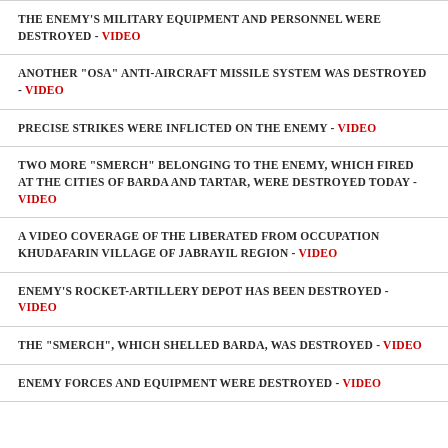THE ENEMY'S MILITARY EQUIPMENT AND PERSONNEL WERE DESTROYED - VIDEO
ANOTHER "OSA" ANTI-AIRCRAFT MISSILE SYSTEM WAS DESTROYED - VIDEO
PRECISE STRIKES WERE INFLICTED ON THE ENEMY - VIDEO
TWO MORE "SMERCH" BELONGING TO THE ENEMY, WHICH FIRED AT THE CITIES OF BARDA AND TARTAR, WERE DESTROYED TODAY - VIDEO
A VIDEO COVERAGE OF THE LIBERATED FROM OCCUPATION KHUDAFARIN VILLAGE OF JABRAYIL REGION - VIDEO
ENEMY'S ROCKET-ARTILLERY DEPOT HAS BEEN DESTROYED - VIDEO
THE "SMERCH", WHICH SHELLED BARDA, WAS DESTROYED - VIDEO
ENEMY FORCES AND EQUIPMENT WERE DESTROYED - VIDEO